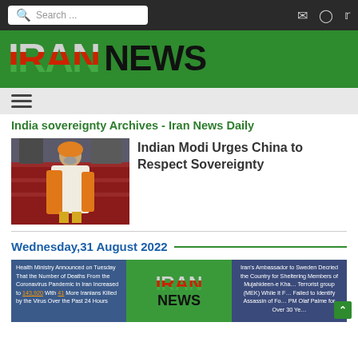Search ... [navigation icons]
IRAN NEWS
[Figure (screenshot): Hamburger menu icon (three horizontal lines)]
India sovereignty Archives - Iran News Daily
[Figure (photo): Photo of Indian Prime Minister Narendra Modi walking up red-carpeted stairs wearing traditional white and orange attire]
Indian Modi Urges China to Respect Sovereignty
Wednesday,31 August 2022
[Figure (screenshot): Thumbnail: Health Ministry Announced on Tuesday That the Number of Deaths From the Coronavirus Pandemic in Iran Increased to 143,920 With 41 More Iranians Killed by the Virus Over the Past 24 Hours]
[Figure (logo): Iran News logo thumbnail]
[Figure (screenshot): Thumbnail: Iran's Ambassador to Sweden Decried the Country for Sheltering Members of Mujahideen-e Khalq Terrorist group (MEK) While It Failed to Identify Assassin of Former PM Olaf Palme for Over 30 Years]